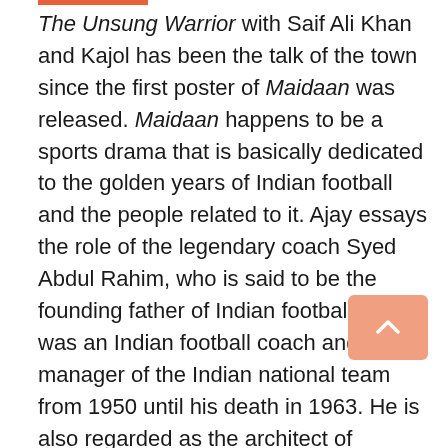The Unsung Warrior with Saif Ali Khan and Kajol has been the talk of the town since the first poster of Maidaan was released. Maidaan happens to be a sports drama that is basically dedicated to the golden years of Indian football and the people related to it. Ajay essays the role of the legendary coach Syed Abdul Rahim, who is said to be the founding father of Indian football. He was an Indian football coach and manager of the Indian national team from 1950 until his death in 1963. He is also regarded as the architect of modern Indian football. While yesterday we got to know that this Ajay Devgn starrer film which was supposed to release on November 2, 2020, has been